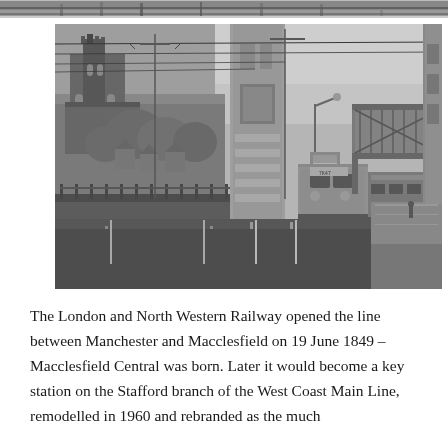[Figure (photo): Top partial strip of a black and white photograph showing a railway scene, cropped at the top of the page.]
[Figure (photo): Black and white photograph of Macclesfield station showing a diesel locomotive at the platform with railway tracks in the foreground, overhead electrification wires, a concrete tower/lift shaft, a footbridge on the right, and a gothic church visible on the hillside to the left.]
The London and North Western Railway opened the line between Manchester and Macclesfield on 19 June 1849 – Macclesfield Central was born. Later it would become a key station on the Stafford branch of the West Coast Main Line, remodelled in 1960 and rebranded as the much